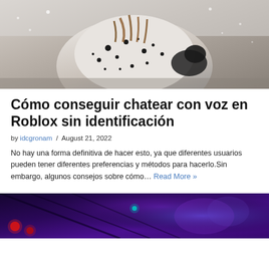[Figure (photo): Person wearing white and black splatter-pattern jacket with dreadlocks, photographed from behind/side in snowy or light background]
Cómo conseguir chatear con voz en Roblox sin identificación
by idcgronam / August 21, 2022
No hay una forma definitiva de hacer esto, ya que diferentes usuarios pueden tener diferentes preferencias y métodos para hacerlo.Sin embargo, algunos consejos sobre cómo… Read More »
[Figure (photo): Dark venue/club scene with purple and blue lighting, red lights visible on the left side]